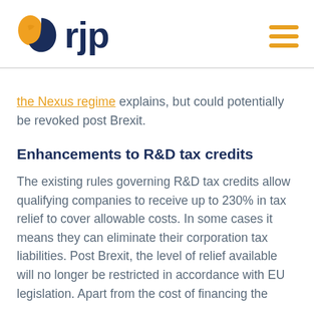rjp
the Nexus regime explains, but could potentially be revoked post Brexit.
Enhancements to R&D tax credits
The existing rules governing R&D tax credits allow qualifying companies to receive up to 230% in tax relief to cover allowable costs. In some cases it means they can eliminate their corporation tax liabilities. Post Brexit, the level of relief available will no longer be restricted in accordance with EU legislation. Apart from the cost of financing the